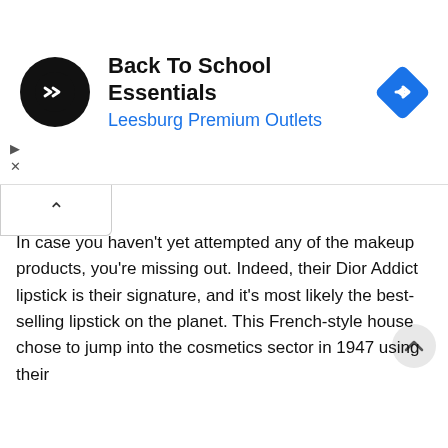[Figure (infographic): Advertisement banner: Back To School Essentials at Leesburg Premium Outlets, with a round black logo with double arrow, and a blue diamond navigation icon on the right.]
In case you haven't yet attempted any of the makeup products, you're missing out. Indeed, their Dior Addict lipstick is their signature, and it's most likely the best-selling lipstick on the planet. This French-style house chose to jump into the cosmetics sector in 1947 using their